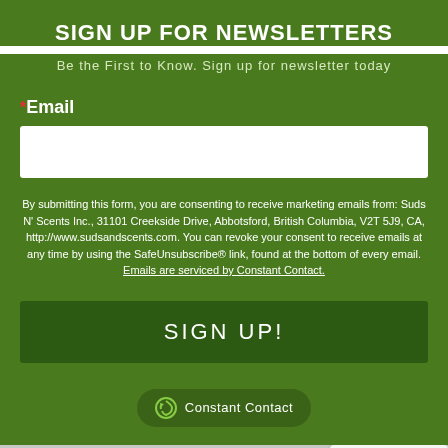SIGN UP FOR NEWSLETTERS
Be the First to Know. Sign up for newsletter today
* Email
By submitting this form, you are consenting to receive marketing emails from: Suds N' Scents Inc., 31101 Creekside Drive, Abbotsford, British Columbia, V2T 5J9, CA, http://www.sudsandscents.com. You can revoke your consent to receive emails at any time by using the SafeUnsubscribe® link, found at the bottom of every email. Emails are serviced by Constant Contact.
[Figure (logo): Constant Contact badge with circular arrow logo and text]
[Figure (logo): reCAPTCHA widget with checkbox and Privacy/Terms text]
[Figure (logo): Suds N Scents company logo with green triangle and script text]